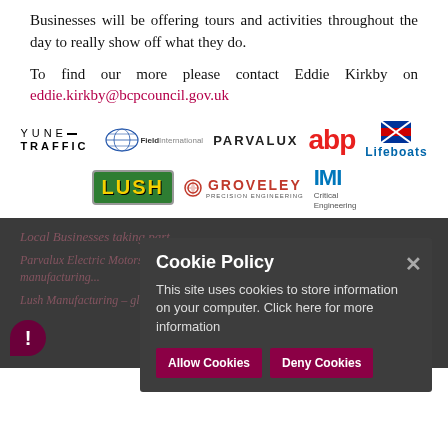Businesses will be offering tours and activities throughout the day to really show off what they do.
To find our more please contact Eddie Kirkby on eddie.kirkby@bcpcouncil.gov.uk
[Figure (logo): Logos of participating businesses: YUNEX TRAFFIC, Field International, PARVALUX, abp, Lifeboats, LUSH, GROVELEY PRECISION ENGINEERING, IMI Critical Engineering]
[Figure (screenshot): Cookie Policy overlay on dark background section. Title: Cookie Policy. Body: This site uses cookies to store information on your computer. Click here for more information. Buttons: Allow Cookies, Deny Cookies. Close button (X) on right. Dark section beneath with blurred text about Local Businesses taking part and Parvalux Electric Motors manufacturing, Lush Manufacturing.]